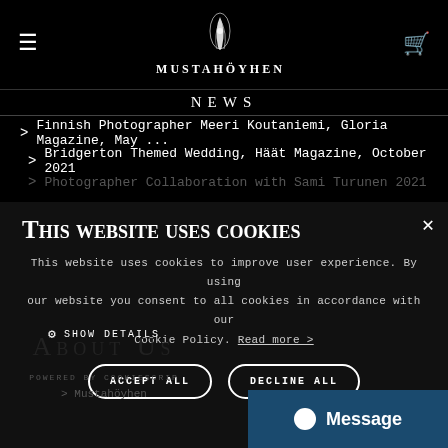MUSTAHÖYHEN
NEWS
> Finnish Photographer Meeri Koutaniemi, Gloria Magazine, May ...
> Bridgerton Themed Wedding, Häät Magazine, October 2021
> Photographer Collaboration with Sami Turunen 2021
> International Shipping via UPS
> More News >
This website uses cookies
This website uses cookies to improve user experience. By using our website you consent to all cookies in accordance with our Cookie Policy. Read more >
ACCEPT ALL
DECLINE ALL
SHOW DETAILS
About Us
POWERED BY COOKIESCRIP
> Mustahöyhen
Message